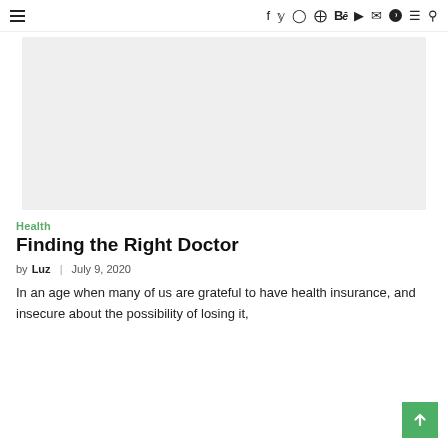≡  f  y  ⊙  ℗  Bē  ▶  ✉  ◑  ≡  🔍
[Figure (photo): Large light gray hero image placeholder area]
Health
Finding the Right Doctor
by Luz  |  July 9, 2020
In an age when many of us are grateful to have health insurance, and insecure about the possibility of losing it,